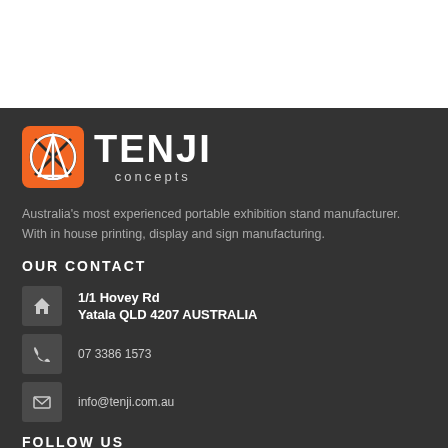[Figure (logo): Tenji Concepts logo: orange rounded-square icon with stylized T inside a circle, next to bold white TENJI text with 'concepts' subtitle below]
Australia's most experienced portable exhibition stand manufacturer. With in house printing, display and sign manufacturing.
OUR CONTACT
1/1 Hovey Rd
Yatala QLD 4207 AUSTRALIA
07 3386 1573
info@tenji.com.au
FOLLOW US